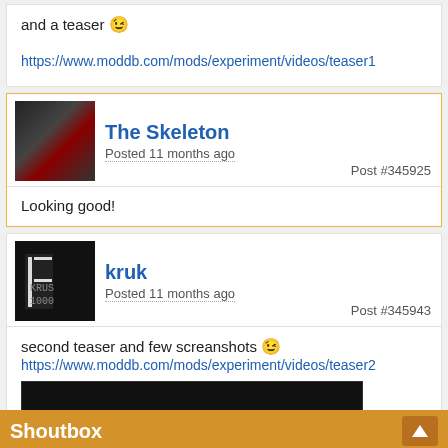and a teaser 😉
https://www.moddb.com/mods/experiment/videos/teaser1
[Figure (screenshot): The Skeleton user avatar - action game screenshot with red character]
The Skeleton
Posted 11 months ago
Post #345925
Looking good!
[Figure (logo): kruk user avatar - black background with kruk logo text]
kruk
Posted 11 months ago
Post #345943
second teaser and few screanshots 😉
https://www.moddb.com/mods/experiment/videos/teaser2
[Figure (screenshot): Dark game screenshot thumbnail]
Shoutbox